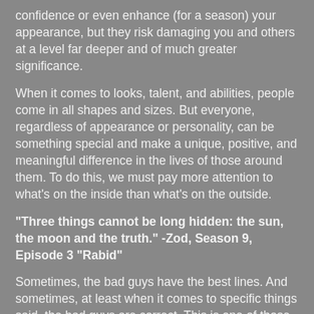confidence or even enhance (for a season) your appearance, but they risk damaging you and others at a level far deeper and of much greater significance.
When it comes to looks, talent, and abilities, people come in all shapes and sizes. But everyone, regardless of appearance or personality, can be something special and make a unique, positive, and meaningful difference in the lives of those around them. To do this, we must pay more attention to what’s on the inside than what’s on the outside.
“Three things cannot be long hidden: the sun, the moon and the truth.” -Zod, Season 9, Episode 3 “Rabid”
Sometimes, the bad guys have the best lines. And sometimes, at least when it comes to specific things said, the bad guys are correct. This is one of those times. Zod reminds us that the truth will eventually come to light.
The episode features zombies. That’s right, zombies. Someone in the Smallville writing room must’ve said: “Hey, we need zombies. What could be cooler than Superman vs